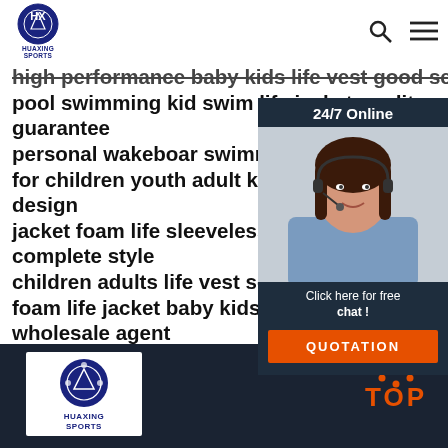HUAXING SPORTS
high performance baby kids life vest good service pool swimming kid swim life jacket credit guarantee
personal wakeboar swimming life vest for children youth adult kid swim vest design
jacket foam life sleeveless garment sw complete style
children adults life vest service-oriente foam life jacket baby kids life sleevele wholesale agent
kids life jacket kayak lifesaving vest du
[Figure (screenshot): 24/7 Online chat widget with customer service representative photo, 'Click here for free chat!' text, and QUOTATION button]
[Figure (logo): Huaxing Sports logo in white box on dark footer]
[Figure (other): TOP button with orange dots arc above orange TOP text on dark background]